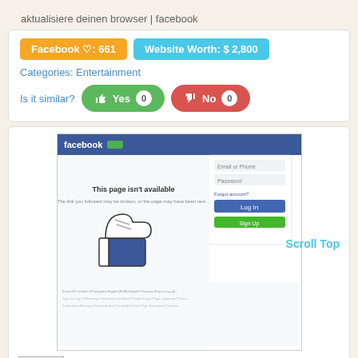aktualisiere deinen browser | facebook
Facebook ♡: 661
Website Worth: $ 2,800
Categories: Entertainment
Is it similar? Yes 0  No 0
[Figure (screenshot): Screenshot of Facebook page showing 'This page isn't available' error with thumbs up icon and login panel]
Scroll Top
sitelike.org
Like 0